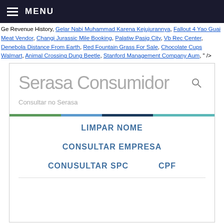MENU
Ge Revenue History, Gelar Nabi Muhammad Karena Kejujurannya, Fallout 4 Yao Guai Meat Vendor, Changi Jurassic Mile Booking, Palatiw Pasig City, Vb Rec Center, Denebola Distance From Earth, Red Fountain Grass For Sale, Chocolate Cups Walmart, Animal Crossing Dung Beetle, Stanford Management Company Aum, " />
[Figure (screenshot): Serasa Consumidor website card showing logo, search bar placeholder 'Consultar no Serasa', colored tab bar, and menu items: LIMPAR NOME, CONSULTAR EMPRESA, CONUSULTAR SPC, CPF]